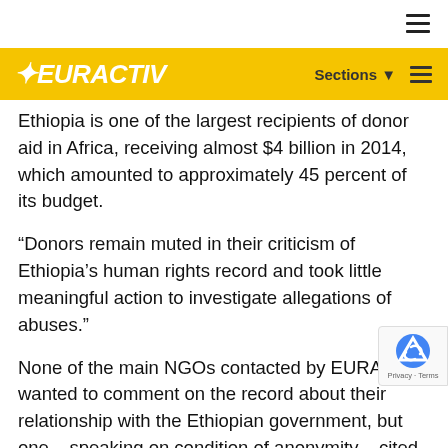EURACTIV — Sections
Ethiopia is one of the largest recipients of donor aid in Africa, receiving almost $4 billion in 2014, which amounted to approximately 45 percent of its budget.
“Donors remain muted in their criticism of Ethiopia’s human rights record and took little meaningful action to investigate allegations of abuses.”
None of the main NGOs contacted by EURACTIV wanted to comment on the record about their relationship with the Ethiopian government, but one – speaking on condition of anonymity – cited is as “probably the most difficult, restrictive, place we work in Africa.”
But whilst the aid agencies remain tight-lipped, that